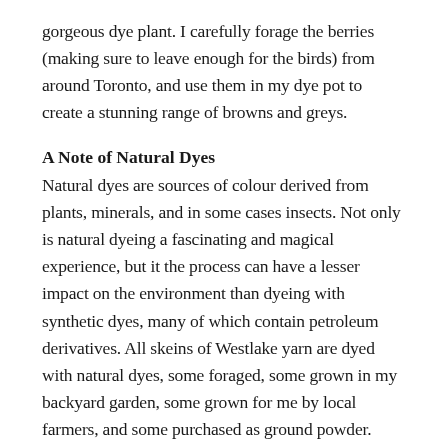gorgeous dye plant. I carefully forage the berries (making sure to leave enough for the birds) from around Toronto, and use them in my dye pot to create a stunning range of browns and greys.
A Note of Natural Dyes
Natural dyes are sources of colour derived from plants, minerals, and in some cases insects. Not only is natural dyeing a fascinating and magical experience, but it the process can have a lesser impact on the environment than dyeing with synthetic dyes, many of which contain petroleum derivatives. All skeins of Westlake yarn are dyed with natural dyes, some foraged, some grown in my backyard garden, some grown for me by local farmers, and some purchased as ground powder.